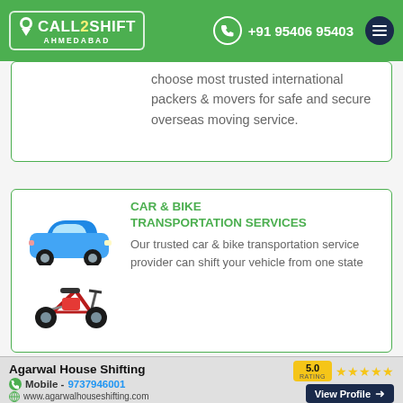CALL2SHIFT AHMEDABAD | +91 95406 95403
choose most trusted international packers & movers for safe and secure overseas moving service.
CAR & BIKE TRANSPORTATION SERVICES
Our trusted car & bike transportation service provider can shift your vehicle from one state
[Figure (illustration): Illustration of a blue car and a red/black motorcycle]
Agarwal House Shifting | Mobile - 9737946001 | www.agarwalhouseshifting.com | Rating: 5.0 | View Profile
Call Us | Get Quote | Chat Now